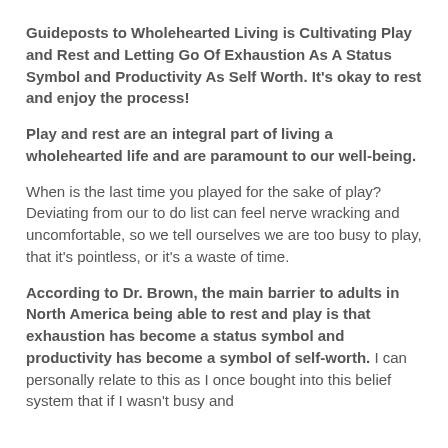Guideposts to Wholehearted Living is Cultivating Play and Rest and Letting Go Of Exhaustion As A Status Symbol and Productivity As Self Worth. It's okay to rest and enjoy the process!
Play and rest are an integral part of living a wholehearted life and are paramount to our well-being.
When is the last time you played for the sake of play? Deviating from our to do list can feel nerve wracking and uncomfortable, so we tell ourselves we are too busy to play, that it's pointless, or it's a waste of time.
According to Dr. Brown, the main barrier to adults in North America being able to rest and play is that exhaustion has become a status symbol and productivity has become a symbol of self-worth. I can personally relate to this as I once bought into this belief system that if I wasn't busy and